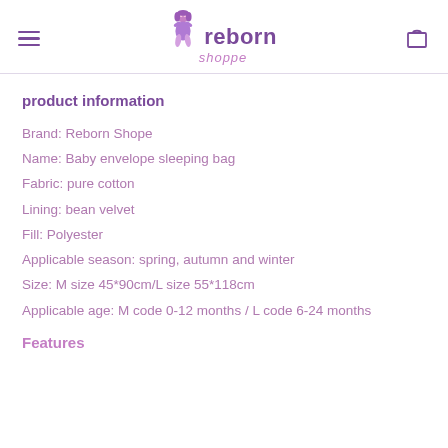reborn shoppe
product information
Brand: Reborn Shope
Name: Baby envelope sleeping bag
Fabric: pure cotton
Lining: bean velvet
Fill: Polyester
Applicable season: spring, autumn and winter
Size: M size 45*90cm/L size 55*118cm
Applicable age: M code 0-12 months / L code 6-24 months
Features